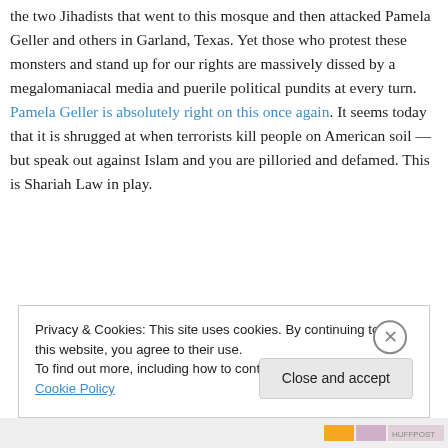the two Jihadists that went to this mosque and then attacked Pamela Geller and others in Garland, Texas. Yet those who protest these monsters and stand up for our rights are massively dissed by a megalomaniacal media and puerile political pundits at every turn. Pamela Geller is absolutely right on this once again. It seems today that it is shrugged at when terrorists kill people on American soil — but speak out against Islam and you are pilloried and defamed. This is Shariah Law in play.
Privacy & Cookies: This site uses cookies. By continuing to use this website, you agree to their use. To find out more, including how to control cookies, see here: Cookie Policy